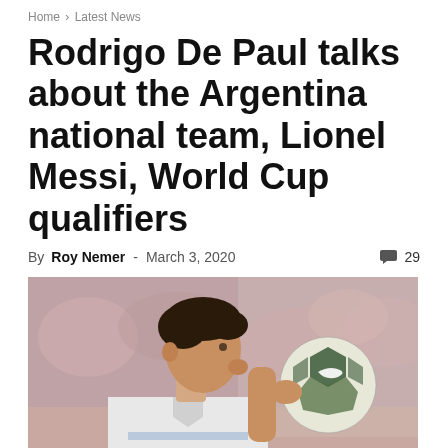Home › Latest News
Rodrigo De Paul talks about the Argentina national team, Lionel Messi, World Cup qualifiers
By Roy Nemer - March 3, 2020   💬 29
[Figure (photo): Rodrigo De Paul looking at a Nike soccer ball being held up, wearing white Argentina national team jersey, blurred crowd background]